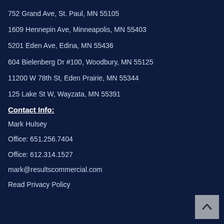752 Grand Ave, St. Paul, MN 55105
1609 Hennepin Ave, Minneapolis, MN 55403
5201 Eden Ave, Edina, MN 55436
604 Bielenberg Dr #100, Woodbury, MN 55125
11200 W 78th St, Eden Prairie, MN 55344
125 Lake St W, Wayzata, MN 55391
Contact Info:
Mark Hulsey
Office: 651.256.7404
Office: 612.314.1527
mark@resultscommercial.com
Read Privacy Policy